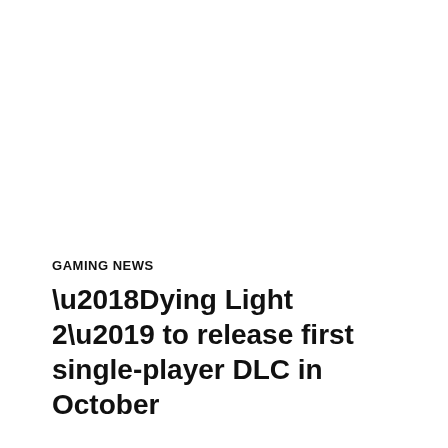GAMING NEWS
‘Dying Light 2’ to release first single-player DLC in October